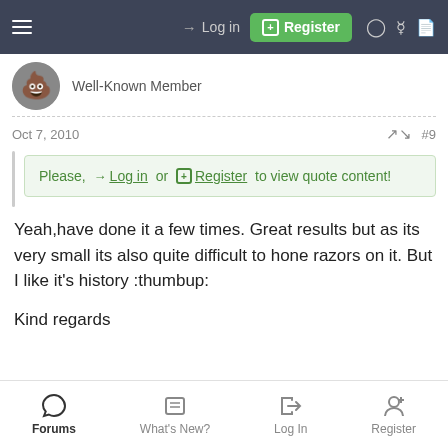Log in | Register
Well-Known Member
Oct 7, 2010   #9
Please, Log in or Register to view quote content!
Yeah,have done it a few times. Great results but as its very small its also quite difficult to hone razors on it. But I like it's history :thumbup:
Kind regards
Forums | What's New? | Log In | Register